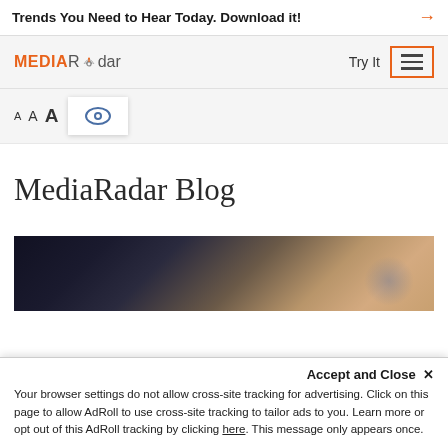Trends You Need to Hear Today. Download it!
[Figure (logo): MediaRadar logo with orange MEDIA text and gray Radar text with antenna icon]
Try It
[Figure (other): Hamburger menu button with orange border]
[Figure (other): Font size selector with three A sizes and eye icon]
MediaRadar Blog
[Figure (photo): Photo of people in a vehicle, dark tones with warm accents]
Accept and Close ✕
Your browser settings do not allow cross-site tracking for advertising. Click on this page to allow AdRoll to use cross-site tracking to tailor ads to you. Learn more or opt out of this AdRoll tracking by clicking here. This message only appears once.